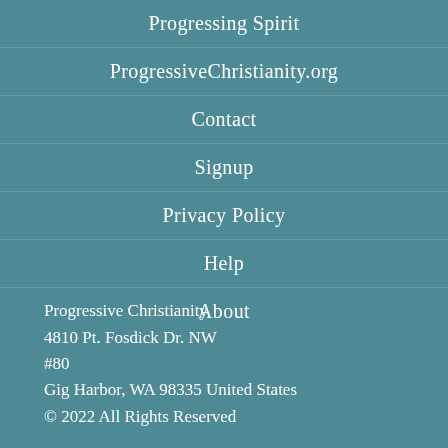Progressing Spirit
ProgressiveChristianity.org
Contact
Signup
Privacy Policy
Help
About
Progressive Christianity
4810 Pt. Fosdick Dr. NW
#80
Gig Harbor, WA 98335 United States
© 2022 All Rights Reserved